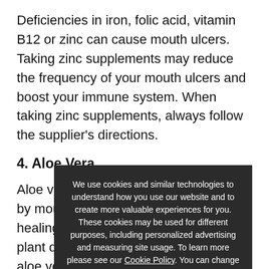Deficiencies in iron, folic acid, vitamin B12 or zinc can cause mouth ulcers. Taking zinc supplements may reduce the frequency of your mouth ulcers and boost your immune system. When taking zinc supplements, always follow the supplier's directions.
4. Aloe Vera
Aloe vera may reduce the pain caused by mouth ulcers and speed up the healing process. Apply gel from the plant directly to the mouth ulcer or drink aloe vera juice. Aloe vera may also treat other oral ailments, like chapped lips and cold sores.
5. Coconut Oil
Coconut oil is antimicrobial and fights against some of the harmful strains of bacteria in the mouth. Swishing